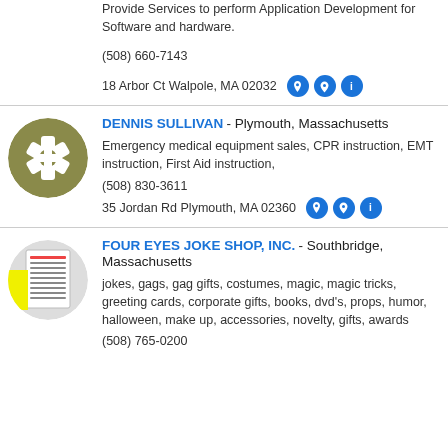Provide Services to perform Application Development for Software and hardware.
(508) 660-7143
18 Arbor Ct Walpole, MA 02032
[Figure (logo): Circular logo with star of life symbol on olive/khaki background]
DENNIS SULLIVAN - Plymouth, Massachusetts
Emergency medical equipment sales, CPR instruction, EMT instruction, First Aid instruction,
(508) 830-3611
35 Jordan Rd Plymouth, MA 02360
[Figure (logo): Circular logo showing product catalog page with yellow accent]
FOUR EYES JOKE SHOP, INC. - Southbridge, Massachusetts
jokes, gags, gag gifts, costumes, magic, magic tricks, greeting cards, corporate gifts, books, dvd's, props, humor, halloween, make up, accessories, novelty, gifts, awards
(508) 765-0200